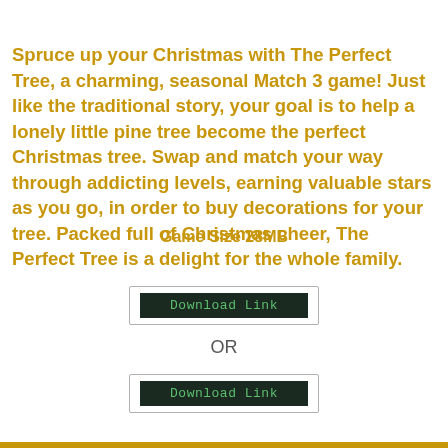Spruce up your Christmas with The Perfect Tree, a charming, seasonal Match 3 game! Just like the traditional story, your goal is to help a lonely little pine tree become the perfect Christmas tree. Swap and match your way through addicting levels, earning valuable stars as you go, in order to buy decorations for your tree. Packed full of Christmas cheer, The Perfect Tree is a delight for the whole family.
Game Size 28MB
[Figure (other): Download Link button - dark green background with green monospace text]
OR
[Figure (other): Download Link button - dark green background with green monospace text]